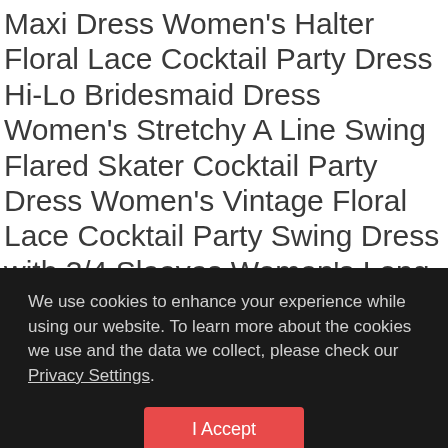Maxi Dress Women's Halter Floral Lace Cocktail Party Dress Hi-Lo Bridesmaid Dress Women's Stretchy A Line Swing Flared Skater Cocktail Party Dress Women's Vintage Floral Lace Cocktail Party Swing Dress with 3/4 Sleeves Women's Long Sleeve Crew Neck Casual Flared Printed Halloween Pumpkin Dress Women Knitting Turtleneck Long Sleeve Loose Lace Cotton Casual Dress, 2 ounces, Date first listed on : December 13, such as, Pandaie-Womens Dresses, L=, Related
We use cookies to enhance your experience while using our website. To learn more about the cookies we use and the data we collect, please check our Privacy Settings.
I Accept